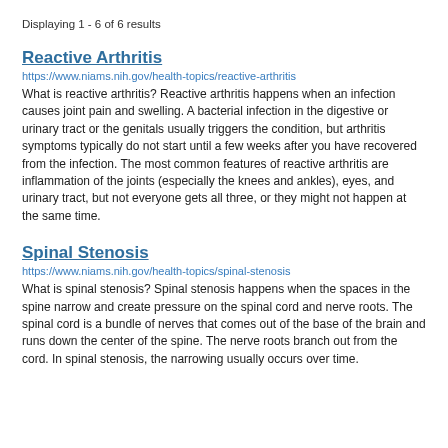Displaying 1 - 6 of 6 results
Reactive Arthritis
https://www.niams.nih.gov/health-topics/reactive-arthritis
What is reactive arthritis? Reactive arthritis happens when an infection causes joint pain and swelling. A bacterial infection in the digestive or urinary tract or the genitals usually triggers the condition, but arthritis symptoms typically do not start until a few weeks after you have recovered from the infection. The most common features of reactive arthritis are inflammation of the joints (especially the knees and ankles), eyes, and urinary tract, but not everyone gets all three, or they might not happen at the same time.
Spinal Stenosis
https://www.niams.nih.gov/health-topics/spinal-stenosis
What is spinal stenosis? Spinal stenosis happens when the spaces in the spine narrow and create pressure on the spinal cord and nerve roots. The spinal cord is a bundle of nerves that comes out of the base of the brain and runs down the center of the spine. The nerve roots branch out from the cord. In spinal stenosis, the narrowing usually occurs over time.